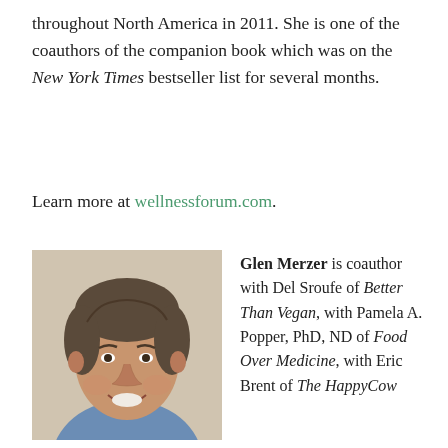throughout North America in 2011. She is one of the coauthors of the companion book which was on the New York Times bestseller list for several months.
Learn more at wellnessforum.com.
[Figure (photo): Portrait photo of Glen Merzer, a middle-aged man with dark gray hair, wearing a blue shirt, smiling, against a light beige background.]
Glen Merzer is coauthor with Del Sroufe of Better Than Vegan, with Pamela A. Popper, PhD, ND of Food Over Medicine, with Eric Brent of The HappyCow